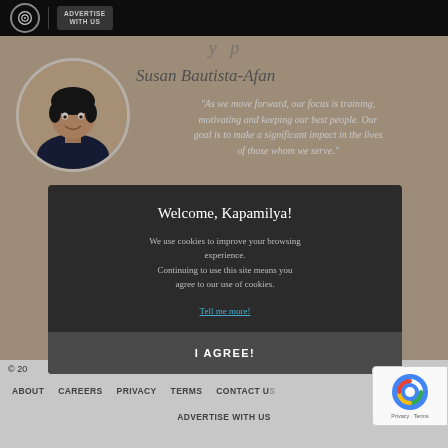ABS-CBN | ADVERTISE WITH US
[Figure (photo): Circular portrait photo of Susan Bautista-Afan, a woman in a dark polo shirt, smiling]
Susan Bautista-Afan
"As we move forward, our focus is training, motivating and keeping our best people. Our goal is to make a significant impact in the lives of those whom we serve."
antay Bata
Welcome, Kapamilya!
We use cookies to improve your browsing experience. Continuing to use this site means you agree to our use of cookies.
Tell me more!
I AGREE!
© 202... ...erved
ABOUT   CAREERS   PRIVACY   TERMS   CONTACT U...
ADVERTISE WITH US